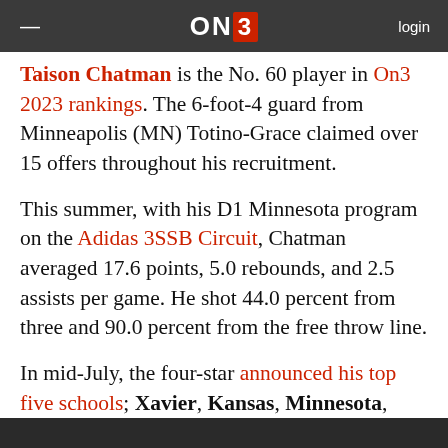ON3  login
Taison Chatman is the No. 60 player in On3 2023 rankings. The 6-foot-4 guard from Minneapolis (MN) Totino-Grace claimed over 15 offers throughout his recruitment.
This summer, with his D1 Minnesota program on the Adidas 3SSB Circuit, Chatman averaged 17.6 points, 5.0 rebounds, and 2.5 assists per game. He shot 44.0 percent from three and 90.0 percent from the free throw line.
In mid-July, the four-star announced his top five schools; Xavier, Kansas, Minnesota,